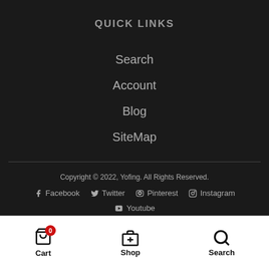QUICK LINKS
Search
Account
Blog
SiteMap
Copyright © 2022, Yofing. All Rights Reserved.
Facebook  Twitter  Pinterest  Instagram  Youtube